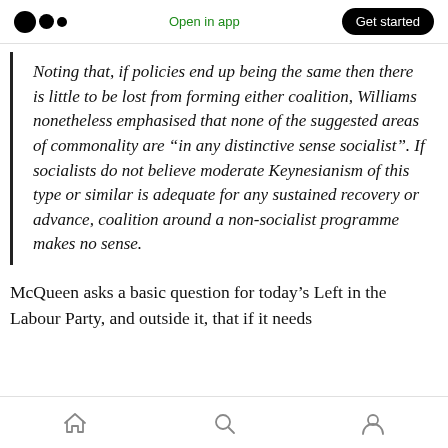Open in app | Get started
Noting that, if policies end up being the same then there is little to be lost from forming either coalition, Williams nonetheless emphasised that none of the suggested areas of commonality are “in any distinctive sense socialist”. If socialists do not believe moderate Keynesianism of this type or similar is adequate for any sustained recovery or advance, coalition around a non-socialist programme makes no sense.
McQueen asks a basic question for today’s Left in the Labour Party, and outside it, that if it needs
Home | Search | Profile